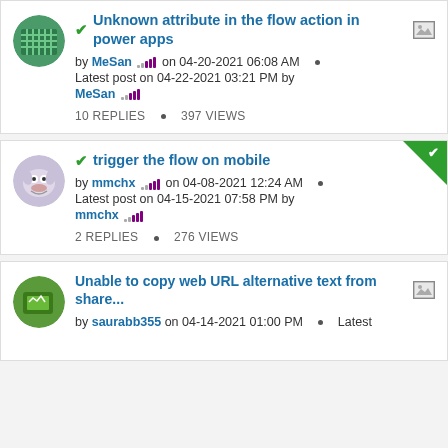✓ Unknown attribute in the flow action in power apps [image] by MeSan on 04-20-2021 06:08 AM • Latest post on 04-22-2021 03:21 PM by MeSan 10 REPLIES • 397 VIEWS
✓ trigger the flow on mobile by mmchx on 04-08-2021 12:24 AM • Latest post on 04-15-2021 07:58 PM by mmchx 2 REPLIES • 276 VIEWS
Unable to copy web URL alternative text from share... [image] by saurabb355 on 04-14-2021 01:00 PM • Latest